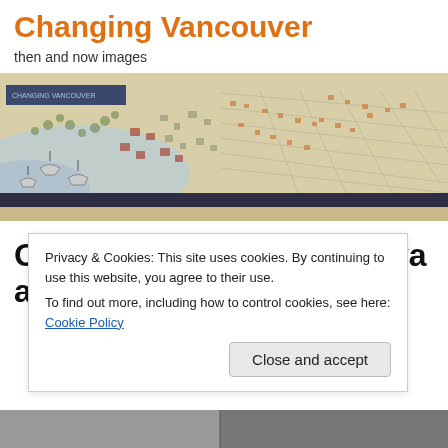Changing Vancouver
then and now images
[Figure (illustration): Historical bird's-eye view map illustration of Vancouver city with streets, buildings, and waterfront. A dark blue label overlay appears at top left. A dark navy bar runs across the bottom of the banner image.]
Oyster Bay Cafe – Cordova and Carrall
Privacy & Cookies: This site uses cookies. By continuing to use this website, you agree to their use.
To find out more, including how to control cookies, see here: Cookie Policy
[Close and accept]
[Figure (photo): Bottom strip of a photograph, partially visible at the bottom of the page.]